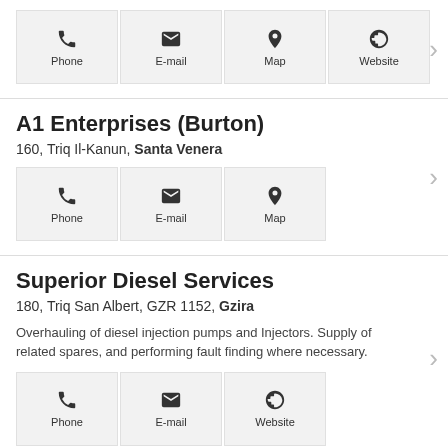[Figure (infographic): Icon buttons: Phone, E-mail, Map, Website (top partial section)]
A1 Enterprises (Burton)
160, Triq Il-Kanun, Santa Venera
[Figure (infographic): Icon buttons: Phone, E-mail, Map]
Superior Diesel Services
180, Triq San Albert, GZR 1152, Gzira
Overhauling of diesel injection pumps and Injectors. Supply of related spares, and performing fault finding where necessary.
[Figure (infographic): Icon buttons: Phone, E-mail, Website]
Associated Motor Co Ltd